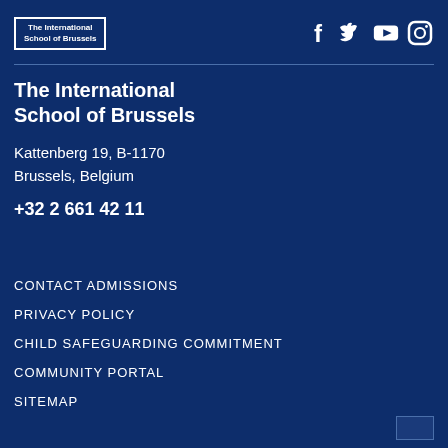[Figure (logo): The International School of Brussels logo in a white-bordered box]
[Figure (other): Social media icons: Facebook, Twitter, YouTube, Instagram]
The International School of Brussels
Kattenberg 19, B-1170
Brussels, Belgium
+32 2 661 42 11
CONTACT ADMISSIONS
PRIVACY POLICY
CHILD SAFEGUARDING COMMITMENT
COMMUNITY PORTAL
SITEMAP